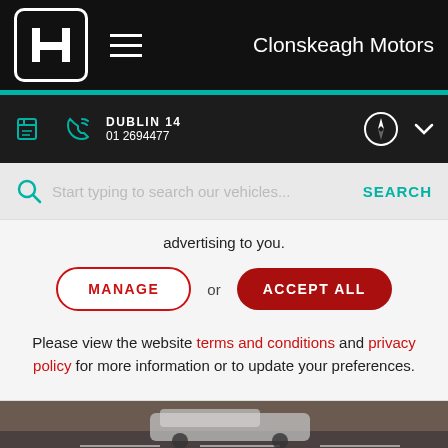Clonskeagh Motors
DUBLIN 14  01 2694477
Start typing to search our vehicles...  SEARCH
advertising to you.
MANAGE or ACCEPT ALL
Please view the website terms and conditions and privacy policy for more information or to update your preferences.
[Figure (photo): Honda CR-V car driving on road, front view, silver/white color]